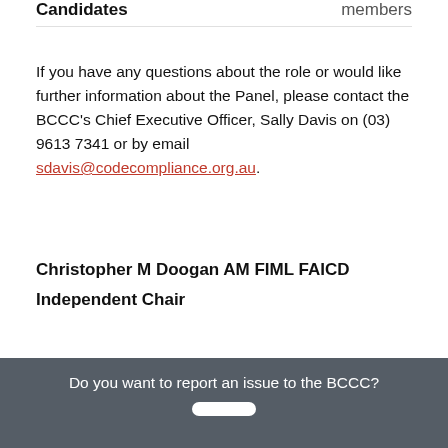Candidates	members
If you have any questions about the role or would like further information about the Panel, please contact the BCCC's Chief Executive Officer, Sally Davis on (03) 9613 7341 or by email sdavis@codecompliance.org.au.
Christopher M Doogan AM FIML FAICD
Independent Chair
Do you want to report an issue to the BCCC?